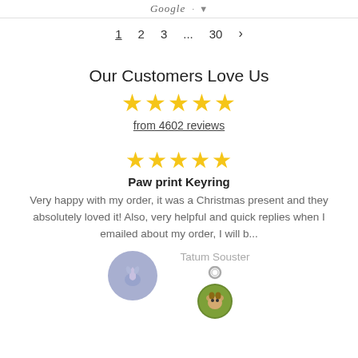Google logo / navigation header
1  2  3  ...  30  >
Our Customers Love Us
[Figure (infographic): Five yellow stars]
from 4602 reviews
[Figure (infographic): Five yellow stars review]
Paw print Keyring
Very happy with my order, it was a Christmas present and they absolutely loved it! Also, very helpful and quick replies when I emailed about my order, I will b...
Tatum Souster
[Figure (illustration): Purple feather/leaf avatar icon and a paw print keyring product image thumbnail]